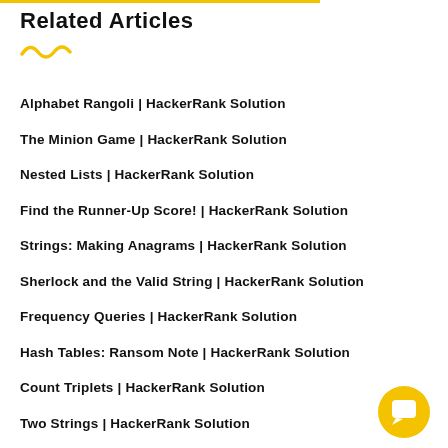Related Articles
Alphabet Rangoli | HackerRank Solution
The Minion Game | HackerRank Solution
Nested Lists | HackerRank Solution
Find the Runner-Up Score! | HackerRank Solution
Strings: Making Anagrams | HackerRank Solution
Sherlock and the Valid String | HackerRank Solution
Frequency Queries | HackerRank Solution
Hash Tables: Ransom Note | HackerRank Solution
Count Triplets | HackerRank Solution
Two Strings | HackerRank Solution